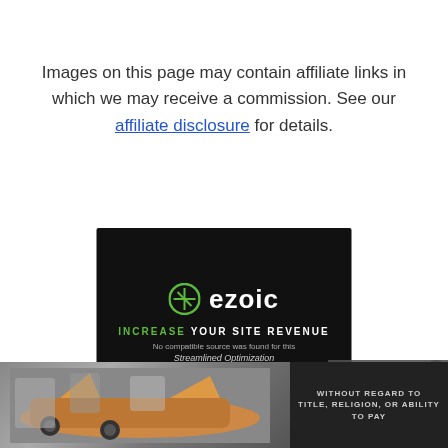Images on this page may contain affiliate links in which we may receive a commission. See our affiliate disclosure for details.
[Figure (logo): Ezoic advertisement banner with logo, 'INCREASE YOUR SITE REVENUE' tagline, and 'Streamlined Optimization' text on black background]
[Figure (photo): Bottom banner showing airplane cargo loading scene on the left and dark panel with 'WITHOUT REGARD TO TITLE, RELIGION, OR ABILITY TO PAY' text on the right]